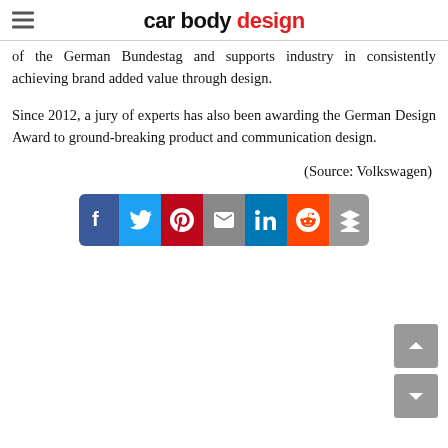car body design
of the German Bundestag and supports industry in consistently achieving brand added value through design.
Since 2012, a jury of experts has also been awarding the German Design Award to ground-breaking product and communication design.
(Source: Volkswagen)
[Figure (other): Social sharing buttons: Facebook, Twitter, Pinterest, Email, LinkedIn, Reddit, Buffer]